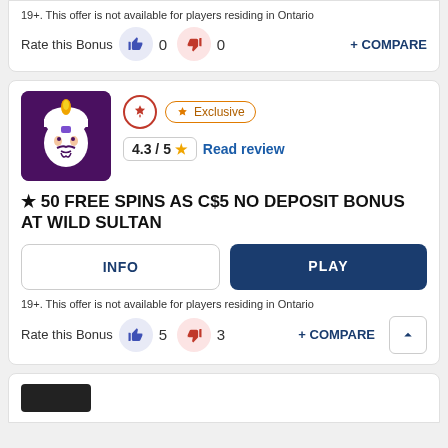19+. This offer is not available for players residing in Ontario
Rate this Bonus  0  0  + COMPARE
[Figure (logo): Wild Sultan casino logo: purple square with stylized sultan face illustration in white and gold]
Exclusive  4.3/5  Read review
★ 50 FREE SPINS AS C$5 NO DEPOSIT BONUS AT WILD SULTAN
INFO  PLAY
19+. This offer is not available for players residing in Ontario
Rate this Bonus  5  3  + COMPARE